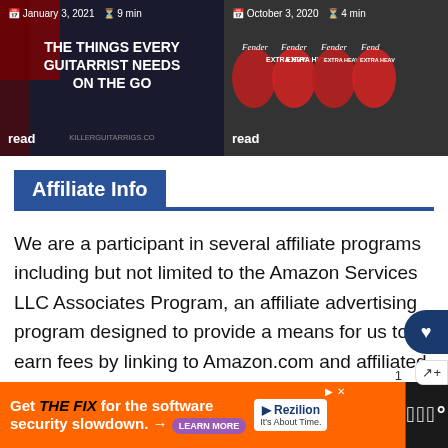[Figure (screenshot): Two article cards side by side at top. Left card: dark background with title text, date January 3, 2021, 9 min read. Right card: Fender guitar picks photo, date October 3, 2020, 4 min read.]
Affiliate Info
We are a participant in several affiliate programs including but not limited to the Amazon Services LLC Associates Program, an affiliate advertising program designed to provide a means for us to earn fees by linking to Amazon.com and affiliated sites. As an Amazon Associate, we earn from qualifying purchases.
[Figure (screenshot): Bottom advertisement bar: orange background with 'Get THE FIX for the software security slowdown.' text, Rezilion logo, and LEARN MORE button. Right side has dark panel with Wald logo.]